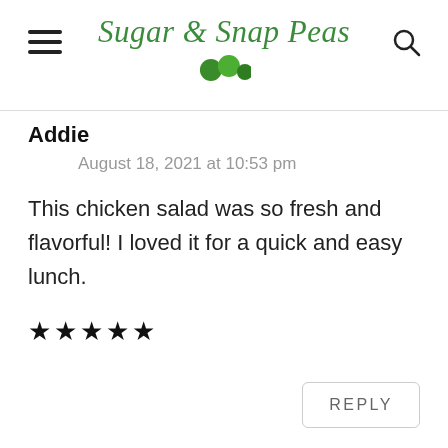Sugar & Snap Peas
Addie
August 18, 2021 at 10:53 pm
This chicken salad was so fresh and flavorful! I loved it for a quick and easy lunch.
★★★★★
REPLY